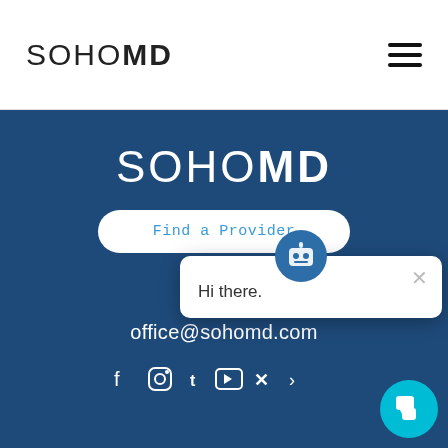SOHOMD
[Figure (logo): SOHOMD logo in the header, thin weight SOHO followed by bold MD]
[Figure (illustration): Hamburger menu icon (three horizontal lines) top right of header]
SOHOMD
Find a Provider
Hi there.
888
office@sohomd.com
[Figure (illustration): Row of social media icons (Facebook, Instagram, Twitter/X, YouTube, X, arrow) at the bottom of the blue section]
[Figure (illustration): Cyan circular chat button with speech bubble icon at bottom right]